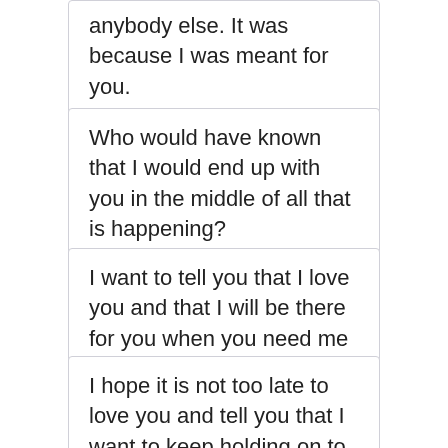anybody else. It was because I was meant for you.
Who would have known that I would end up with you in the middle of all that is happening?
I want to tell you that I love you and that I will be there for you when you need me the most.
I hope it is not too late to love you and tell you that I want to keep holding on to your hand.
You are my sunshine, you lift me whenever I feel so down, so I want to love you a lot.